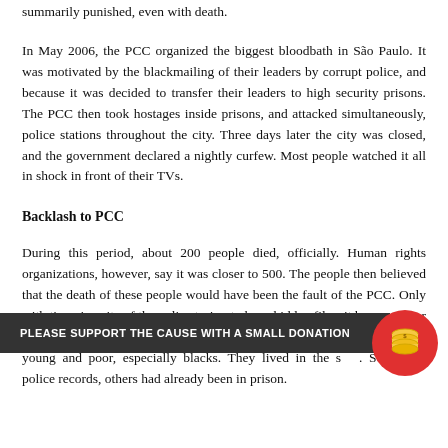summarily punished, even with death.
In May 2006, the PCC organized the biggest bloodbath in São Paulo. It was motivated by the blackmailing of their leaders by corrupt police, and because it was decided to transfer their leaders to high security prisons. The PCC then took hostages inside prisons, and attacked simultaneously, police stations throughout the city. Three days later the city was closed, and the government declared a nightly curfew. Most people watched it all in shock in front of their TVs.
Backlash to PCC
During this period, about 200 people died, officially. Human rights organizations, however, say it was closer to 500. The people then believed that the death of these people would have been the fault of the PCC. Only with time, in spite of the police trying to keep hidden files, it became clear that police [were] young and poor, especially blacks. They lived in the [streets]. Some had police records, others had already been in prison.
PLEASE SUPPORT THE CAUSE WITH A SMALL DONATION